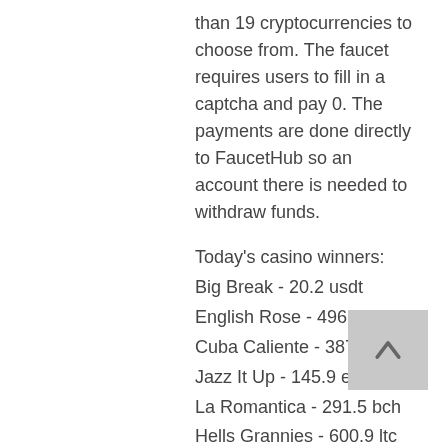than 19 cryptocurrencies to choose from. The faucet requires users to fill in a captcha and pay 0. The payments are done directly to FaucetHub so an account there is needed to withdraw funds.
Today's casino winners:
Big Break - 20.2 usdt
English Rose - 496.9 ltc
Cuba Caliente - 387.3 dog
Jazz It Up - 145.9 eth
La Romantica - 291.5 bch
Hells Grannies - 600.9 ltc
Munchers - 735.3 dog
Mighty Kong - 518.3 btc
Dragon Shrine - 2.8 dog
Jewel Box - 54.8 usdt
Sky Way - 67.6 dog
Diamond Chief - 550.9 btc
Crazy Cars - 367.1 btc
Pyramid Treasure - 352.4 dog
Flux - 45.2 dog